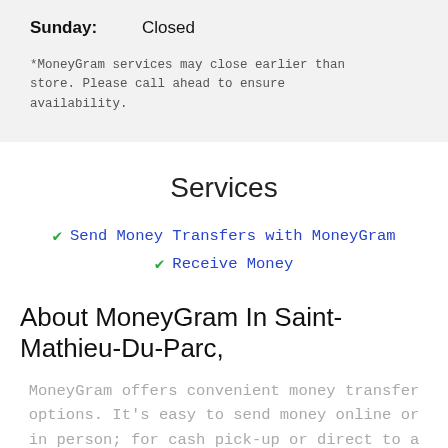Sunday: Closed
*MoneyGram services may close earlier than store. Please call ahead to ensure availability.
Services
✓ Send Money Transfers with MoneyGram
✓ Receive Money
About MoneyGram In Saint-Mathieu-Du-Parc,
MoneyGram offers convenient money transfer options. It's easy to send money online or in person; for cash pick-up or direct to a bank. We